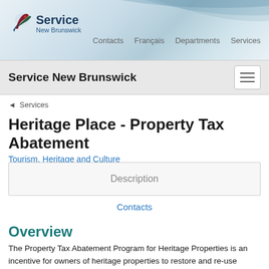[Figure (logo): Service New Brunswick logo with leaf/bird icon and text]
Contacts  Français  Departments  Services
Service New Brunswick
◄ Services
Heritage Place - Property Tax Abatement
Tourism, Heritage and Culture
Description
Contacts
Overview
The Property Tax Abatement Program for Heritage Properties is an incentive for owners of heritage properties to restore and re-use designated historic places, thereby extending their useful life and preserving their heritage value to the community.